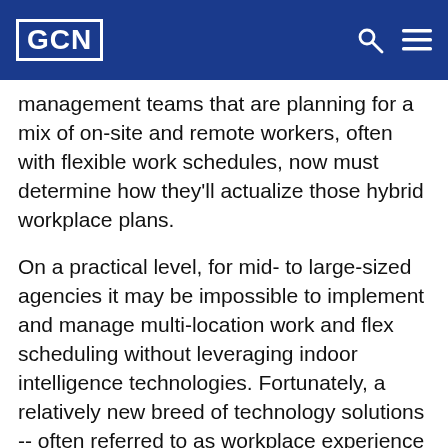GCN
management teams that are planning for a mix of on-site and remote workers, often with flexible work schedules, now must determine how they'll actualize those hybrid workplace plans.
On a practical level, for mid- to large-sized agencies it may be impossible to implement and manage multi-location work and flex scheduling without leveraging indoor intelligence technologies. Fortunately, a relatively new breed of technology solutions -- often referred to as workplace experience apps (or tenant experience, employee experience, smart office or campus apps) -- have emerged to enable these new workplace models. Using an agency-branded app with advanced mapping and positioning plus third-